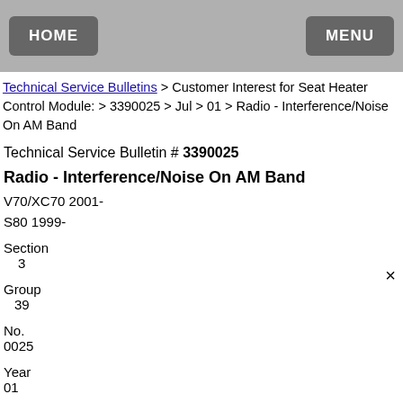HOME   MENU
Technical Service Bulletins > Customer Interest for Seat Heater Control Module: > 3390025 > Jul > 01 > Radio - Interference/Noise On AM Band
Technical Service Bulletin # 3390025
Radio - Interference/Noise On AM Band
V70/XC70 2001-
S80 1999-
Section
   3
Group
  39
No.
0025
Year
01